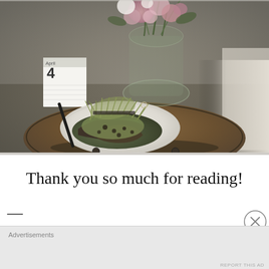[Figure (photo): A round wooden side table with a white plate of avocado toast topped with greens/microgreens. A glass vase with pink and white flowers sits on the table alongside a desk calendar showing '4'. A curtain is visible at the right edge. Photo taken from above at an angle.]
Thank you so much for reading!
— (partially visible/cut off text line)
Advertisements
REPORT THIS AD